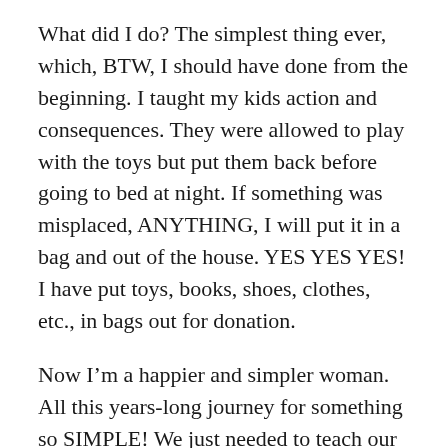What did I do? The simplest thing ever, which, BTW, I should have done from the beginning. I taught my kids action and consequences. They were allowed to play with the toys but put them back before going to bed at night. If something was misplaced, ANYTHING, I will put it in a bag and out of the house. YES YES YES! I have put toys, books, shoes, clothes, etc., in bags out for donation.
Now I’m a happier and simpler woman. All this years-long journey for something so SIMPLE! We just needed to teach our kids that there will be consequences if they don’t pick up after themselves. How are we doing so far? Well, every night, my daughter goes with her brother around the house, checking